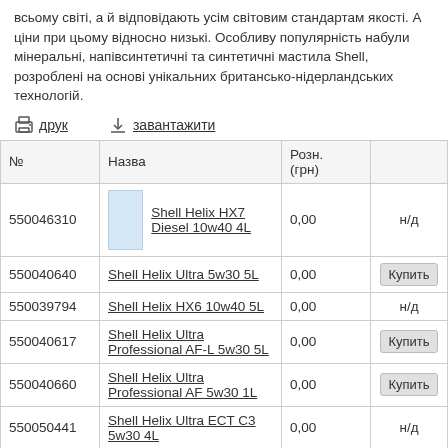всьому світі, а й відповідають усім світовим стандартам якості. А ціни при цьому відносно низькі. Особливу популярність набули мінеральні, напівсинтетичні та синтетичні мастила Shell, розроблені на основі унікальних британсько-нідерландських технологій.
друк   завантажити
| № | Назва | Розн. (грн) |  |
| --- | --- | --- | --- |
| 550046310 | Shell Helix HX7 Diesel 10w40 4L | 0,00 | н/д |
| 550040640 | Shell Helix Ultra 5w30 5L | 0,00 | Купить |
| 550039794 | Shell Helix HX6 10w40 5L | 0,00 | н/д |
| 550040617 | Shell Helix Ultra Professional AF-L 5w30 5L | 0,00 | Купить |
| 550040660 | Shell Helix Ultra Professional AF 5w30 1L | 0,00 | Купить |
| 550050441 | Shell Helix Ultra ECT C3 5w30 4L | 0,00 | н/д |
| 550052679 | Shell Helix Ultra 5w40 4L | 0,00 | н/д |
| 550046280 | Shell Helix Ultra 5w40 5L | 0,00 | н/д |